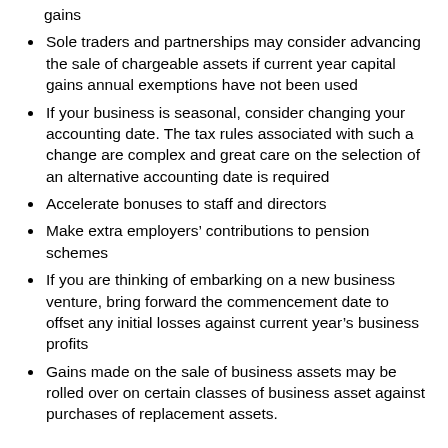gains
Sole traders and partnerships may consider advancing the sale of chargeable assets if current year capital gains annual exemptions have not been used
If your business is seasonal, consider changing your accounting date. The tax rules associated with such a change are complex and great care on the selection of an alternative accounting date is required
Accelerate bonuses to staff and directors
Make extra employers’ contributions to pension schemes
If you are thinking of embarking on a new business venture, bring forward the commencement date to offset any initial losses against current year’s business profits
Gains made on the sale of business assets may be rolled over on certain classes of business asset against purchases of replacement assets.